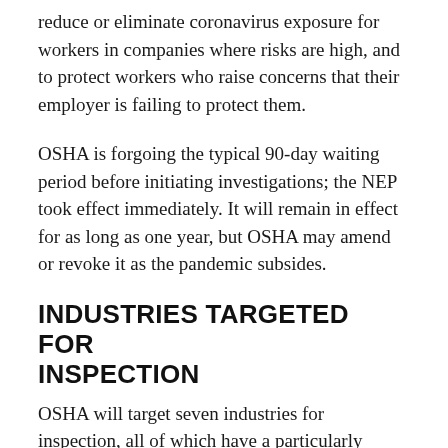reduce or eliminate coronavirus exposure for workers in companies where risks are high, and to protect workers who raise concerns that their employer is failing to protect them.
OSHA is forgoing the typical 90-day waiting period before initiating investigations; the NEP took effect immediately. It will remain in effect for as long as one year, but OSHA may amend or revoke it as the pandemic subsides.
INDUSTRIES TARGETED FOR INSPECTION
OSHA will target seven industries for inspection, all of which have a particularly high...